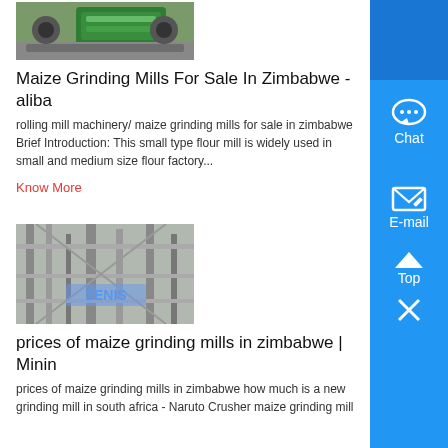[Figure (photo): Green industrial maize grinding mill / crushing machine on gravel]
Maize Grinding Mills For Sale In Zimbabwe - aliba
rolling mill machinery/ maize grinding mills for sale in zimbabwe Brief Introduction: This small type flour mill is widely used in small and medium size flour factory...
Know More
[Figure (photo): Industrial flour mill machinery interior with ZENIS branding]
prices of maize grinding mills in zimbabwe | Minin
prices of maize grinding mills in zimbabwe how much is a new grinding mill in south africa - Naruto Crusher maize grinding mill